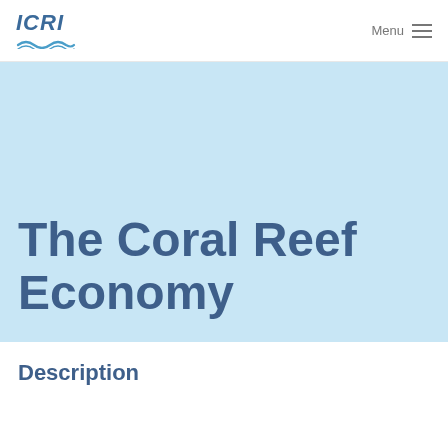ICRI  Menu
The Coral Reef Economy
Description